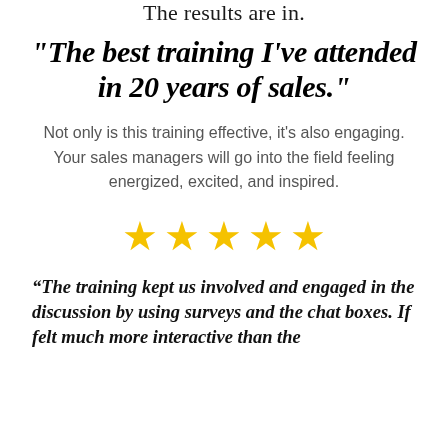The results are in.
"The best training I've attended in 20 years of sales."
Not only is this training effective, it's also engaging. Your sales managers will go into the field feeling energized, excited, and inspired.
[Figure (other): Five gold star rating icons in a horizontal row]
“The training kept us involved and engaged in the discussion by using surveys and the chat boxes. If felt much more interactive than the